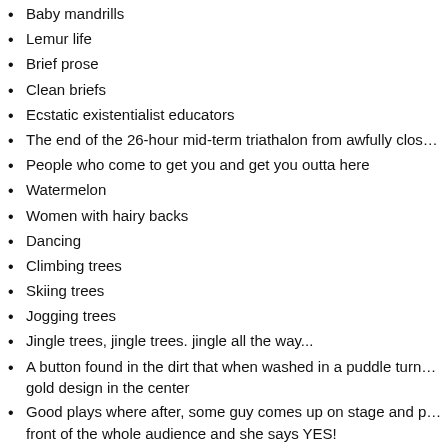Baby mandrills
Lemur life
Brief prose
Clean briefs
Ecstatic existentialist educators
The end of the 26-hour mid-term triathalon from awfully clos…
People who come to get you and get you outta here
Watermelon
Women with hairy backs
Dancing
Climbing trees
Skiing trees
Jogging trees
Jingle trees, jingle trees. jingle all the way...
A button found in the dirt that when washed in a puddle turn… gold design in the center
Good plays where after, some guy comes up on stage and p… front of the whole audience and she says YES!
(Virtual) Reality
MSU Football/Hockey
Chocola…